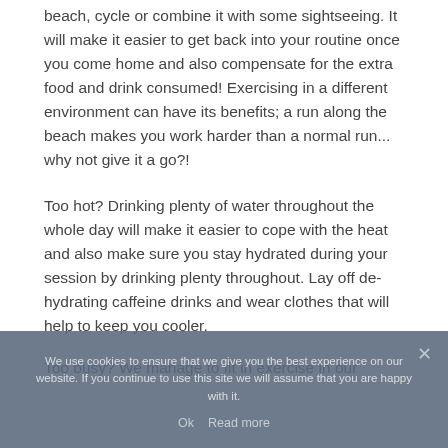beach, cycle or combine it with some sightseeing. It will make it easier to get back into your routine once you come home and also compensate for the extra food and drink consumed! Exercising in a different environment can have its benefits; a run along the beach makes you work harder than a normal run... why not give it a go?!
Too hot? Drinking plenty of water throughout the whole day will make it easier to cope with the heat and also make sure you stay hydrated during your session by drinking plenty throughout. Lay off de-hydrating caffeine drinks and wear clothes that will help to keep you cooler.
Too busy? We manage to fit in exercise in our
We use cookies to ensure that we give you the best experience on our website. If you continue to use this site we will assume that you are happy with it.
Ok  Read more